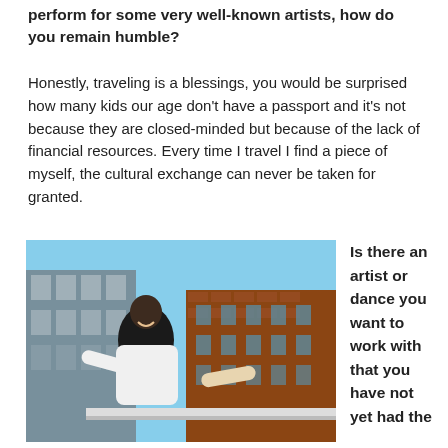perform for some very well-known artists, how do you remain humble?
Honestly, traveling is a blessings, you would be surprised how many kids our age don't have a passport and it's not because they are closed-minded but because of the lack of financial resources. Every time I travel I find a piece of myself, the cultural exchange can never be taken for granted.
[Figure (photo): A man in a white outfit smiling and leaning on a railing outdoors, with city buildings visible in the background including a brick building and a glass building.]
Is there an artist or dance you want to work with that you have not yet had the